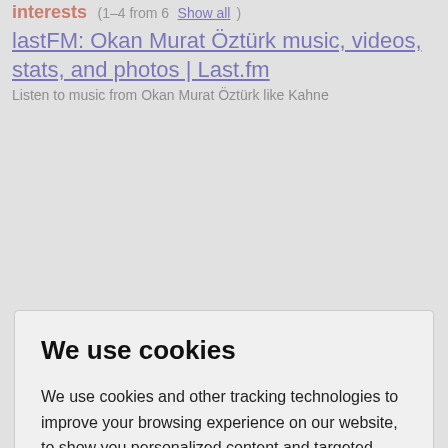interests (1-4 from 6   Show all)
lastFM: Okan Murat Öztürk music, videos, stats, and photos | Last.fm
Listen to music from Okan Murat Öztürk like Kahne
We use cookies
We use cookies and other tracking technologies to improve your browsing experience on our website, to show you personalized content and targeted ads, to analyze our website traffic, and to understand where our visitors are coming from.
I agree | Change my preferences